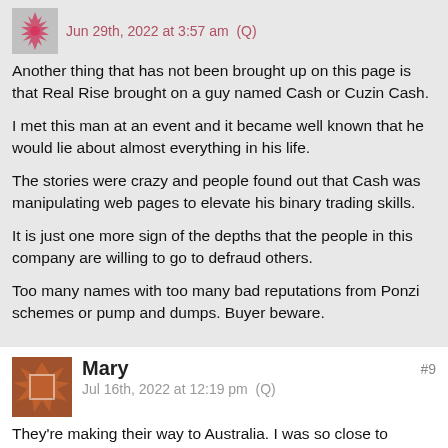Jun 29th, 2022 at 3:57 am  (Q)
Another thing that has not been brought up on this page is that Real Rise brought on a guy named Cash or Cuzin Cash.
I met this man at an event and it became well known that he would lie about almost everything in his life.
The stories were crazy and people found out that Cash was manipulating web pages to elevate his binary trading skills.
It is just one more sign of the depths that the people in this company are willing to go to defraud others.
Too many names with too many bad reputations from Ponzi schemes or pump and dumps. Buyer beware.
Mary
Jul 16th, 2022 at 12:19 pm  (Q)
#9
They're making their way to Australia. I was so close to joining, they attempted convincing a large group of people (20+) with a "FREE 3 DAY TRIAL" went though the live video chats,